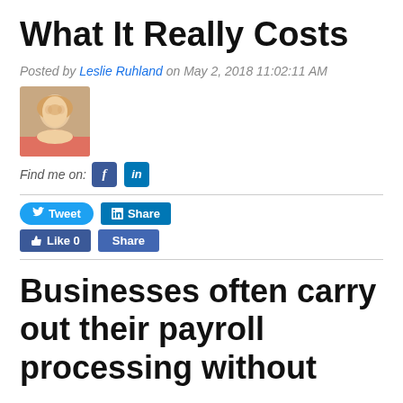What It Really Costs
Posted by Leslie Ruhland on May 2, 2018 11:02:11 AM
[Figure (photo): Profile photo of Leslie Ruhland, a woman with blonde hair and a pink top, smiling.]
Find me on: [Facebook icon] [LinkedIn icon]
Tweet  Share  Like 0  Share
Businesses often carry out their payroll processing without